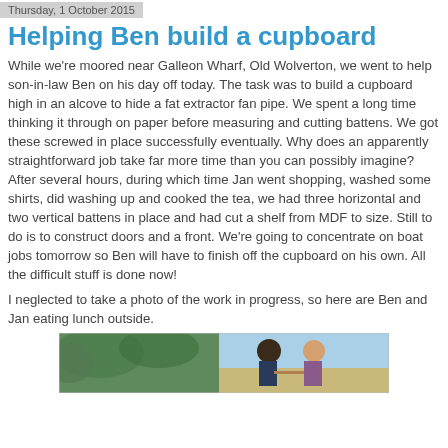Thursday, 1 October 2015
Helping Ben build a cupboard
While we're moored near Galleon Wharf, Old Wolverton, we went to help son-in-law Ben on his day off today. The task was to build a cupboard high in an alcove to hide a fat extractor fan pipe. We spent a long time thinking it through on paper before measuring and cutting battens. We got these screwed in place successfully eventually. Why does an apparently straightforward job take far more time than you can possibly imagine? After several hours, during which time Jan went shopping, washed some shirts, did washing up and cooked the tea, we had three horizontal and two vertical battens in place and had cut a shelf from MDF to size. Still to do is to construct doors and a front. We're going to concentrate on boat jobs tomorrow so Ben will have to finish off the cupboard on his own. All the difficult stuff is done now!
I neglected to take a photo of the work in progress, so here are Ben and Jan eating lunch outside.
[Figure (photo): Photo of Ben and Jan eating lunch outside]